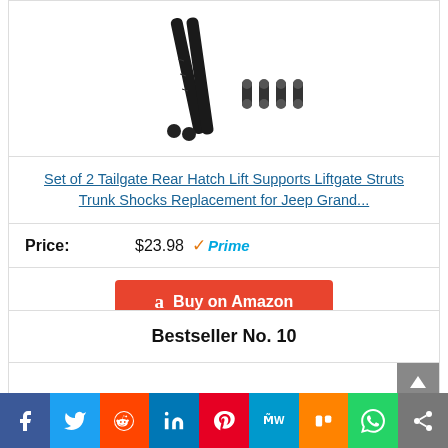[Figure (photo): Product image showing two black tailgate rear hatch lift support struts and four mounting hardware pieces against white background]
Set of 2 Tailgate Rear Hatch Lift Supports Liftgate Struts Trunk Shocks Replacement for Jeep Grand...
Price: $23.98 ✓Prime
Buy on Amazon
Bestseller No. 10
Social share buttons: Facebook, Twitter, Reddit, LinkedIn, Pinterest, MeWe, Mix, WhatsApp, More